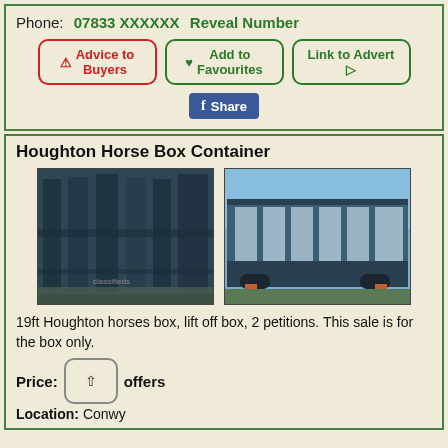Phone: 07833 XXXXXX  Reveal Number
⚠ Advice to Buyers
♥ Add to Favourites
Link to Advert ➔
f Share
Houghton Horse Box Container
[Figure (photo): Two photos of a Houghton horse box container — a dark blue metal box seen from the side, and another view showing the box from the other side with windowed panels.]
19ft Houghton horses box, lift off box, 2 petitions. This sale is for the box only.
Price:  offers
Location: Conwy